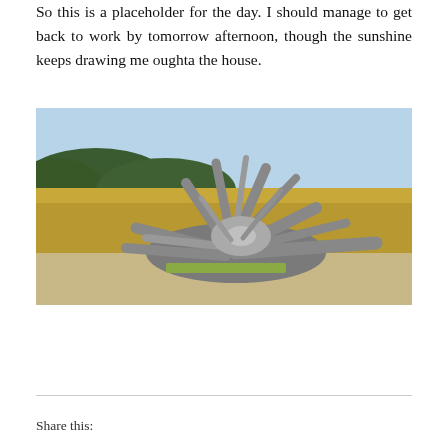So this is a placeholder for the day. I should manage to get back to work by tomorrow afternoon, though the sunshine keeps drawing me oughta the house.
[Figure (photo): A large weathered driftwood root structure sitting on a sandy beach with golden grasses and forested hills in the background under a clear blue sky.]
Share this: